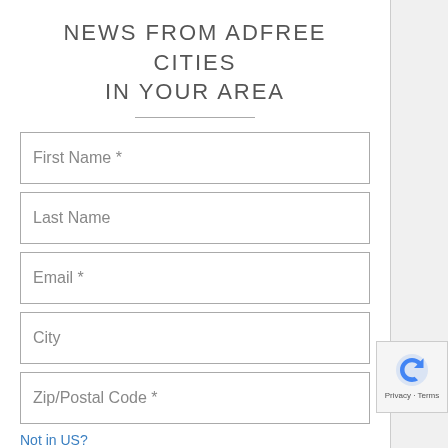NEWS FROM ADFREE CITIES IN YOUR AREA
First Name *
Last Name
Email *
City
Zip/Postal Code *
Not in US?
I WOULD LIKE TO HEAR NEWS FROM